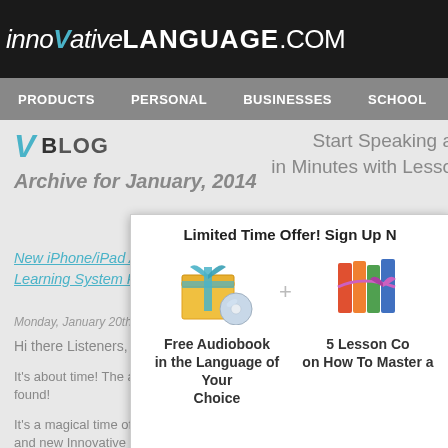innovativeLanguage.com
PRODUCTS  PERSONAL  BUSINESSES  SCHOOLS
BLOG  Start Speaking a Language in Minutes with Lessons
Archive for January, 2014
Limited Time Offer! Sign Up Now
New iPhone/iPad App! It's About Time You Got a Learning System For Your Device.
Monday, January 20th, 2014
Hi there Listeners,
It's about time! The app is finally found!
It's a magical time of year for language learners. New goals and new Innovative Language members are starting to spea
[Figure (infographic): Popup overlay showing a limited time offer with a free audiobook (gift box with CD icon) plus a 5 lesson course on how to master a language (stack of colorful books with ribbon), with plus sign between them.]
Free Audiobook in the Language of Your Choice
5 Lesson Course on How To Master a